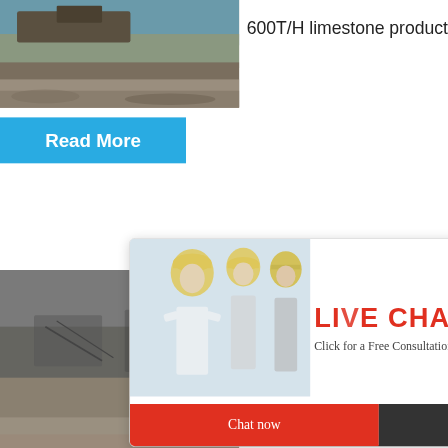[Figure (photo): Construction/mining site with machinery and rubble, top-left]
600T/H limestone producti...
[Figure (other): Blue 'Read More' button]
[Figure (photo): Gray rock/mining excavation site, middle-left]
[Figure (infographic): Live Chat popup overlay with workers in hard hats, 'LIVE CHAT', 'Click for a Free Consultation', 'Chat now' and 'Chat later' buttons]
hour online
[Figure (photo): Industrial crusher machine image on right panel]
Read
Click me to chat>>
Enquiry
[Figure (photo): Construction site bottom-left]
Industr
limingjlmofen